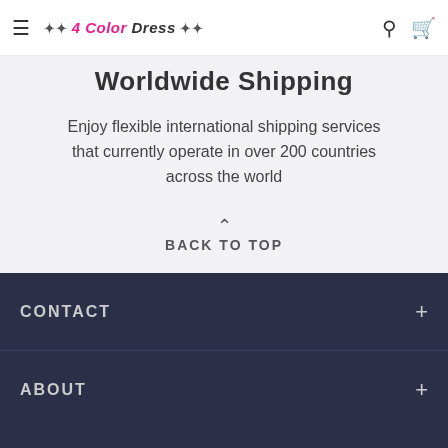4 Color Dress
Worldwide Shipping
Enjoy flexible international shipping services that currently operate in over 200 countries across the world
BACK TO TOP
CONTACT
ABOUT